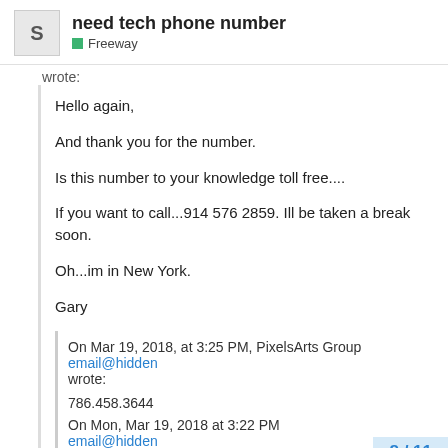need tech phone number
Freeway
wrote:
Hello again,

And thank you for the number.

Is this number to your knowledge toll free....

If you want to call...914 576 2859. Ill be taken a break soon.

Oh...im in New York.

Gary
On Mar 19, 2018, at 3:25 PM, PixelsArts Group email@hidden wrote:

786.458.3644

On Mon, Mar 19, 2018 at 3:22 PM email@hidden
8 / 11